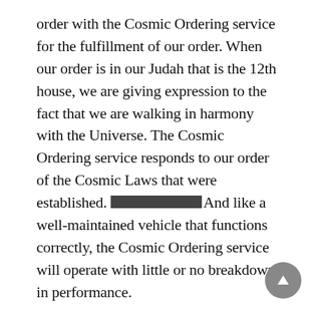order with the Cosmic Ordering service for the fulfillment of our order. When our order is in our Judah that is the 12th house, we are giving expression to the fact that we are walking in harmony with the Universe. The Cosmic Ordering service responds to our order of the Cosmic Laws that were established. [REDACTED] And like a well-maintained vehicle that functions correctly, the Cosmic Ordering service will operate with little or no breakdown in performance.
In order to obtain the highest quality of Cosmic Ordering, we must be very aware of the physical, emotional, spiritual, and mental energies that are within us. We must recognize God and the Divine